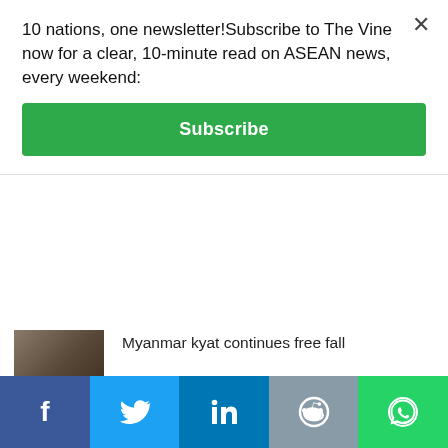10 nations, one newsletter!Subscribe to The Vine now for a clear, 10-minute read on ASEAN news, every weekend:
Subscribe
Myanmar kyat continues free fall
Indonesia's GoTo more than doubles half-year net loss; takes over crypto firm
Malaysia's ex-PM ordered Mongolian model's murder, former bodyguard claims
Singaporeans stick to crypto despite tougher regulations